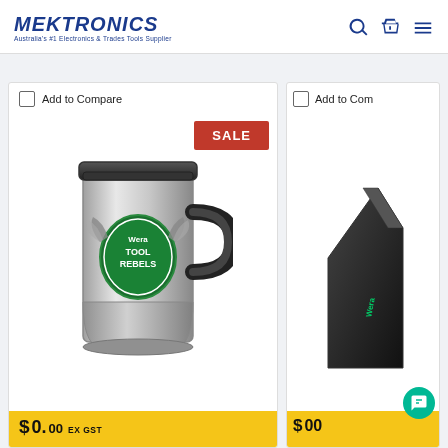[Figure (logo): Mectronics logo — Australia's #1 Electronics & Trades Tools Supplier]
[Figure (screenshot): E-commerce product listing page from Mectronics showing a stainless steel travel mug with Tool Rebels branding marked SALE, with Add to Compare checkbox and price bar showing EX GST pricing in yellow. A partial second product card is visible on the right.]